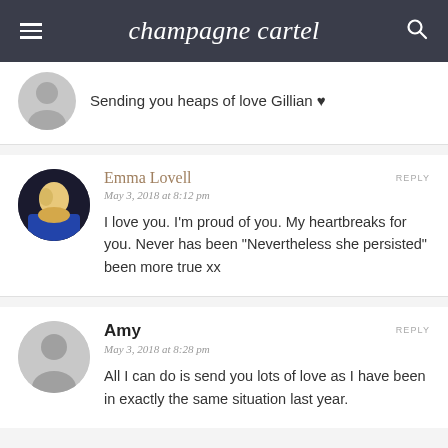champagne cartel
Sending you heaps of love Gillian ♥
Emma Lovell
May 3, 2018 at 8:12 pm
I love you. I'm proud of you. My heartbreaks for you. Never has been "Nevertheless she persisted" been more true xx
Amy
May 3, 2018 at 8:28 pm
All I can do is send you lots of love as I have been in exactly the same situation last year.